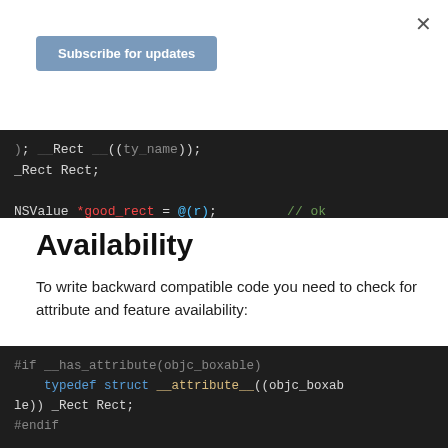×
Subscribe for updates
[Figure (screenshot): Dark-themed code block showing: _Rect Rect; and NSValue *good_rect = @(r); // ok]
Availability
To write backward compatible code you need to check for attribute and feature availability:
[Figure (screenshot): Dark-themed code block showing: #if __has_attribute(objc_boxable)  typedef struct __attribute__((objc_boxable)) _Rect Rect;  #endif  CABasicAnimation animation = [CABasicAnimation animationWithKeyPath:@"position"];]